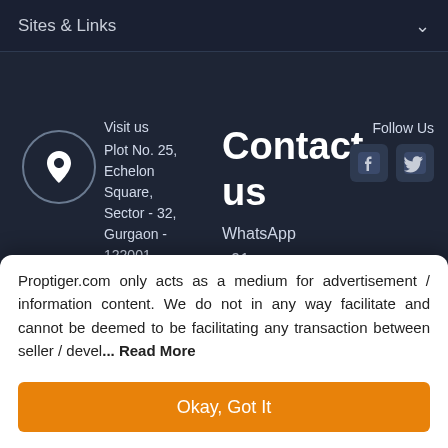Sites & Links
Visit us
Plot No. 25, Echelon Square, Sector - 32, Gurgaon - 122001
visit all regional offices
Contact us
WhatsApp
+91-96939-69347
Follow Us
Proptiger.com only acts as a medium for advertisement / information content. We do not in any way facilitate and cannot be deemed to be facilitating any transaction between seller / devel... Read More
Okay, Got It